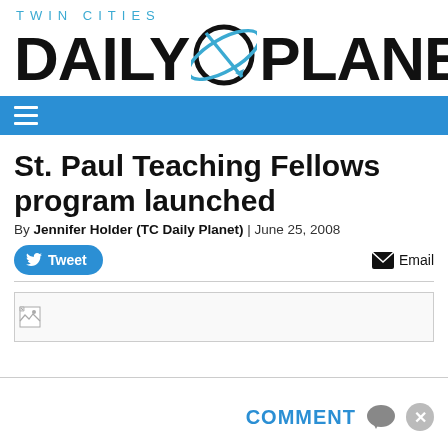TWIN CITIES DAILY PLANET
St. Paul Teaching Fellows program launched
By Jennifer Holder (TC Daily Planet) | June 25, 2008
[Figure (screenshot): Tweet button and Email button social sharing row]
[Figure (photo): Broken image placeholder]
COMMENT